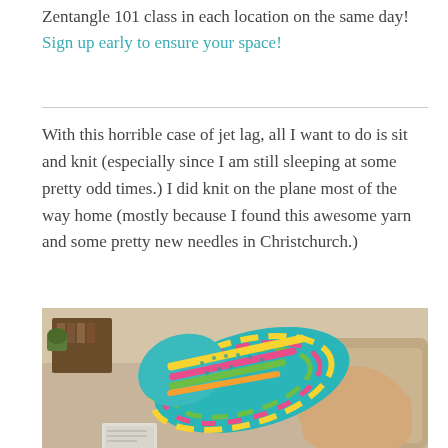Zentangle 101 class in each location on the same day! Sign up early to ensure your space!
With this horrible case of jet lag, all I want to do is sit and knit (especially since I am still sleeping at some pretty odd times.) I did knit on the plane most of the way home (mostly because I found this awesome yarn and some pretty new needles in Christchurch.)
[Figure (photo): A colorful knitted sock or slipper in green, teal, yellow, pink and rainbow colors resting on a beige couch, with a living room visible in the background.]